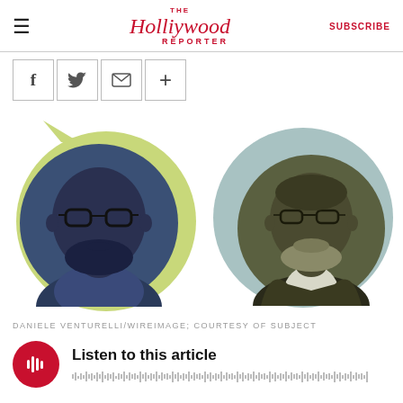The Hollywood Reporter | SUBSCRIBE
[Figure (infographic): Social share buttons: Facebook (f), Twitter bird, Email (envelope), Plus (+)]
[Figure (illustration): Two overlapping circles illustration: left circle is yellow-green with a speech bubble tail containing a dark blue-tinted portrait of a man with glasses and beard; right circle is light blue containing an olive-tinted portrait of an older man with glasses and beard in a suit.]
DANIELE VENTURELLI/WIREIMAGE; COURTESY OF SUBJECT
[Figure (infographic): Audio player bar with red circular play button showing waveform icon, text 'Listen to this article', and waveform bars below.]